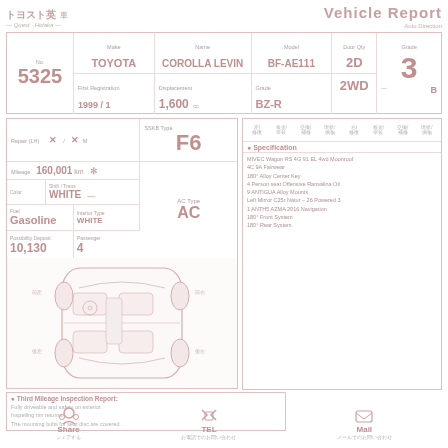Vehicle Report
| No. | Make | Name | Model | Door Qty | Grade |
| --- | --- | --- | --- | --- | --- |
| 5325 | TOYOTA | COROLLA LEVIN | BF-AE111 | 2D | 3 |
|  | First Registration: 1999 | Displacement: 1,600 | Grade: BZ-R | 2WD | B |
[Figure (schematic): ＳSBB Type F6 label with AC Type AC]
| Mileage | Color | Shift/Trans | Order (km) |
| --- | --- | --- | --- |
| 160,001 km | WHITE | — | 440 |
| Fuel: Gasoline | Interior Type: WHITE |  |  |
| Possibility Deposit: 10,130 | Passenger: 4 |  |  |
[Figure (engineering-diagram): Top-down car inspection diagram showing interior layout with seats, steering, damage marks]
Specification
MIVEC Wagon RS 4G 91 EL 4wd Moonroof
4C 9A Fairwear
180° Alloy Center Key
4 Person seat Offensive Ransalina Oil
9 ANTIGUA Alloy Mounts
Left Mirror C25r Natur – 26 Powered 3
1 ANTH5 AZMA 2016 Navigation
180° Front System
180° Rear System
Third Mileage Inspection Report:
Fully driveable and safety on exterior.
Inspelling rim returns.
The mounting bolts for seat disc are covered.
Share    TEL    Mail